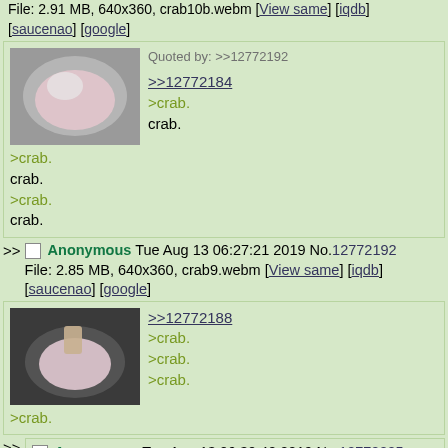File: 2.91 MB, 640x360, crab10b.webm [View same] [iqdb] [saucenao] [google]
[Figure (photo): A pot or bowl with a pink/white liquid or substance inside, top-down view.]
Quoted by: >>12772192
>>12772184
>crab.
crab.
>crab.
crab.
>crab.
crab.
>> Anonymous Tue Aug 13 06:27:21 2019 No.12772192
File: 2.85 MB, 640x360, crab9.webm [View same] [iqdb] [saucenao] [google]
[Figure (photo): A dark bowl or pan with a pink/white circular object being touched by a finger, top-down view.]
>>12772188
>crab.
>crab.
>crab.
>crab.
>> Anonymous Tue Aug 13 06:30:40 2019 No.12772205
Quoted by: >>12772236